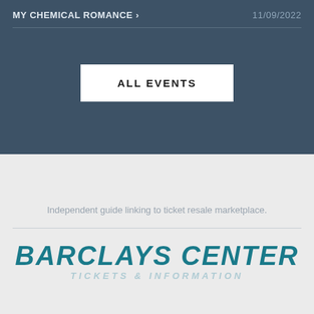MY CHEMICAL ROMANCE >   11/09/2022
ALL EVENTS
Independent guide linking to ticket resale marketplace.
[Figure (logo): Barclays Center logo with bold italic teal text reading BARCLAYS CENTER and subtitle TICKETS & INFORMATION]